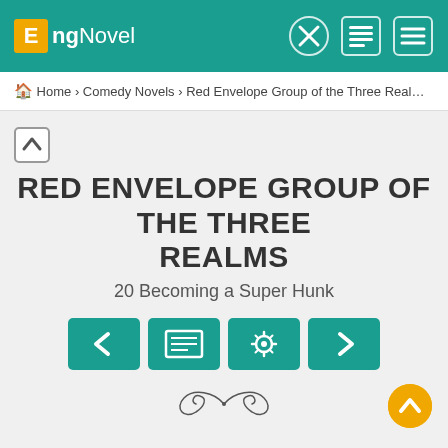EngNovel
Home › Comedy Novels › Red Envelope Group of the Three Realms › 20...
RED ENVELOPE GROUP OF THE THREE REALMS
20 Becoming a Super Hunk
[Figure (screenshot): Navigation buttons: previous, table of contents, settings, next — teal colored]
[Figure (illustration): Decorative ornamental divider flourish]